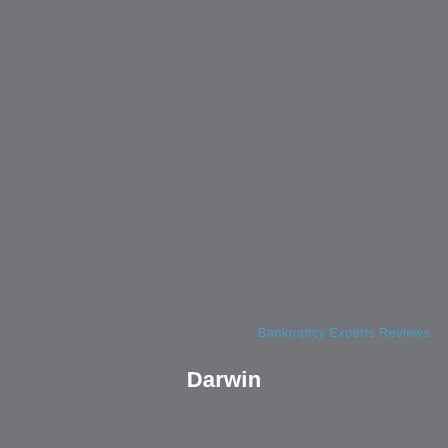[Figure (other): Solid grey background cover page for Bankruptcy Experts Reviews - Darwin]
Bankruptcy Experts Reviews
Darwin